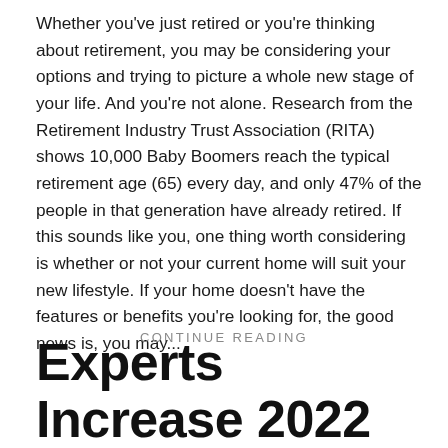Whether you've just retired or you're thinking about retirement, you may be considering your options and trying to picture a whole new stage of your life. And you're not alone. Research from the Retirement Industry Trust Association (RITA) shows 10,000 Baby Boomers reach the typical retirement age (65) every day, and only 47% of the people in that generation have already retired. If this sounds like you, one thing worth considering is whether or not your current home will suit your new lifestyle. If your home doesn't have the features or benefits you're looking for, the good news is, you may...
CONTINUE READING
Experts Increase 2022